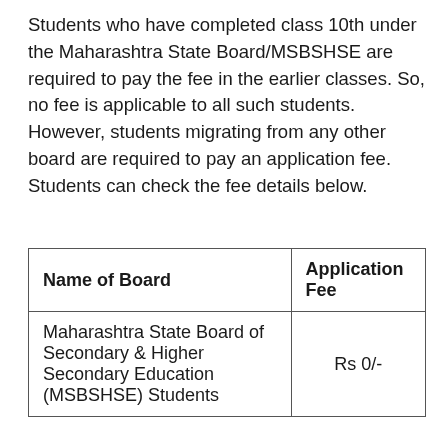Students who have completed class 10th under the Maharashtra State Board/MSBSHSE are required to pay the fee in the earlier classes. So, no fee is applicable to all such students. However, students migrating from any other board are required to pay an application fee. Students can check the fee details below.
| Name of Board | Application Fee |
| --- | --- |
| Maharashtra State Board of Secondary & Higher Secondary Education (MSBSHSE) Students | Rs 0/- |